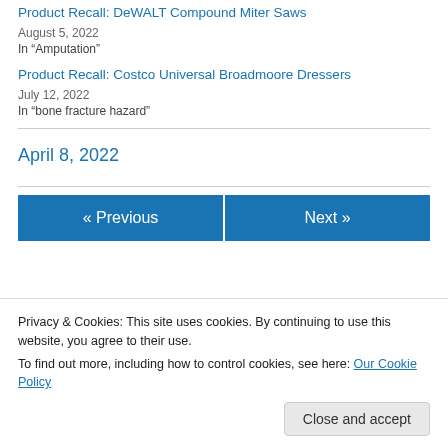Product Recall: DeWALT Compound Miter Saws
August 5, 2022
In "Amputation"
Product Recall: Costco Universal Broadmoore Dressers
July 12, 2022
In "bone fracture hazard"
April 8, 2022
« Previous
Next »
Privacy & Cookies: This site uses cookies. By continuing to use this website, you agree to their use.
To find out more, including how to control cookies, see here: Our Cookie Policy
Close and accept